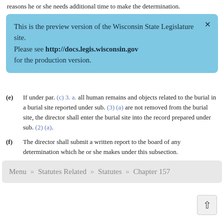reasons he or she needs additional time to make the determination.
This is the preview version of the Wisconsin State Legislature site. Please see http://docs.legis.wisconsin.gov for the production version.
(e) If under par. (c) 3. a. all human remains and objects related to the burial in a burial site reported under sub. (3) (a) are not removed from the burial site, the director shall enter the burial site into the record prepared under sub. (2) (a).
(f) The director shall submit a written report to the board of any determination which he or she makes under this subsection.
(5) Procedure for cataloged burial sites.
Menu » Statutes Related » Statutes » Chapter 157